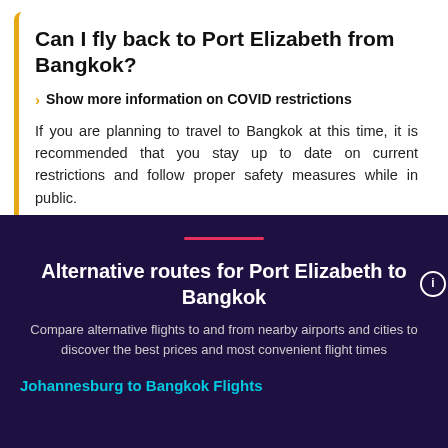Can I fly back to Port Elizabeth from Bangkok?
Show more information on COVID restrictions
If you are planning to travel to Bangkok at this time, it is recommended that you stay up to date on current restrictions and follow proper safety measures while in public.
Alternative routes for Port Elizabeth to Bangkok
Compare alternative flights to and from nearby airports and cities to discover the best prices and most convenient flight times
Johannesburg to Bangkok Flights